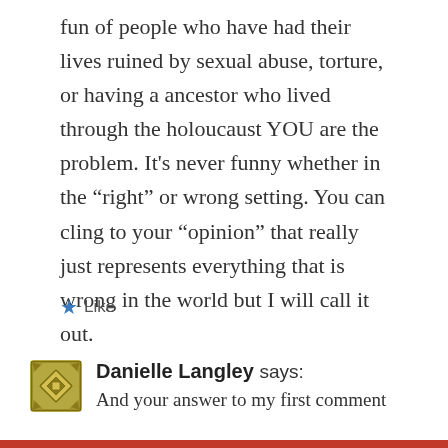fun of people who have had their lives ruined by sexual abuse, torture, or having a ancestor who lived through the holoucaust YOU are the problem. It's never funny whether in the “right” or wrong setting. You can cling to your “opinion” that really just represents everything that is wrong in the world but I will call it out.
★ Like
Danielle Langley says:
And your answer to my first comment